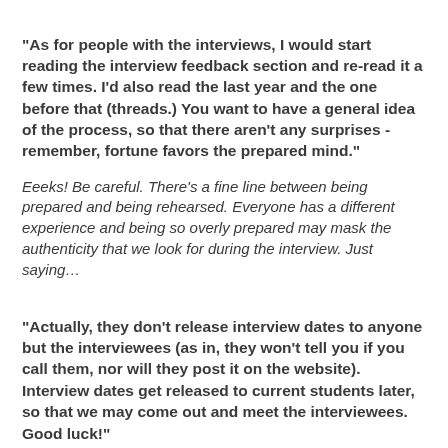“As for people with the interviews, I would start reading the interview feedback section and re-read it a few times. I’d also read the last year and the one before that (threads.) You want to have a general idea of the process, so that there aren’t any surprises - remember, fortune favors the prepared mind.”
Eeeks! Be careful. There’s a fine line between being prepared and being rehearsed. Everyone has a different experience and being so overly prepared may mask the authenticity that we look for during the interview. Just saying…
“Actually, they don’t release interview dates to anyone but the interviewees (as in, they won’t tell you if you call them, nor will they post it on the website). Interview dates get released to current students later, so that we may come out and meet the interviewees. Good luck!”
Not true. (Well, except the fact that we don’t put the interview dates on the web.) We aren’t trying to be sneaky, but why post the dates on the web? Everyone involved in the process (interviewees, interviewers, chat room participants, etc.) are